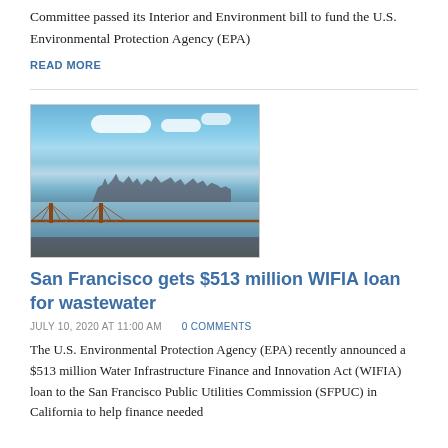committee process. Last week, the House Appropriations Committee passed its Interior and Environment bill to fund the U.S. Environmental Protection Agency (EPA)
READ MORE
[Figure (photo): Aerial photo of San Francisco Bay with the Bay Bridge in the foreground and the San Francisco city skyline in the background under a blue sky with clouds.]
San Francisco gets $513 million WIFIA loan for wastewater
JULY 10, 2020 AT 11:00 AM   0 COMMENTS
The U.S. Environmental Protection Agency (EPA) recently announced a $513 million Water Infrastructure Finance and Innovation Act (WIFIA) loan to the San Francisco Public Utilities Commission (SFPUC) in California to help finance needed